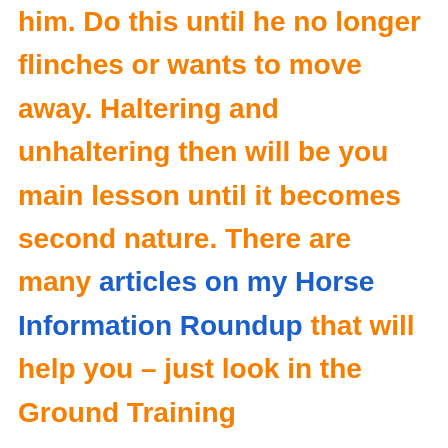him. Do this until he no longer flinches or wants to move away. Haltering and unhaltering then will be you main lesson until it becomes second nature. There are many articles on my Horse Information Roundup that will help you – just look in the Ground Training